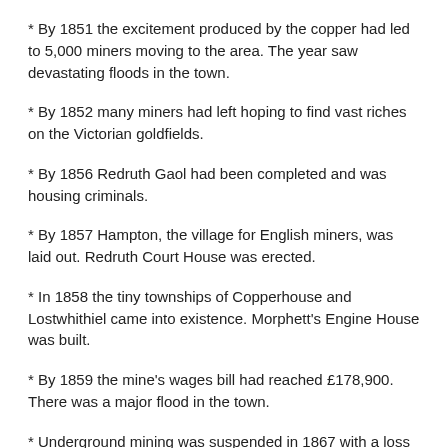* By 1851 the excitement produced by the copper had led to 5,000 miners moving to the area. The year saw devastating floods in the town.
* By 1852 many miners had left hoping to find vast riches on the Victorian goldfields.
* By 1856 Redruth Gaol had been completed and was housing criminals.
* By 1857 Hampton, the village for English miners, was laid out. Redruth Court House was erected.
* In 1858 the tiny townships of Copperhouse and Lostwhithiel came into existence. Morphett's Engine House was built.
* By 1859 the mine's wages bill had reached £178,900. There was a major flood in the town.
* Underground mining was suspended in 1867 with a loss of 500 jobs.